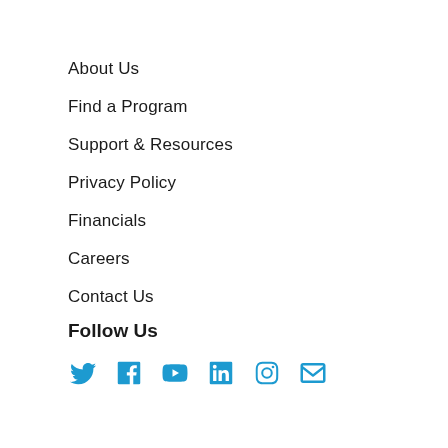About Us
Find a Program
Support & Resources
Privacy Policy
Financials
Careers
Contact Us
Follow Us
[Figure (other): Social media icons: Twitter, Facebook, YouTube, LinkedIn, Instagram, Email — all in blue]